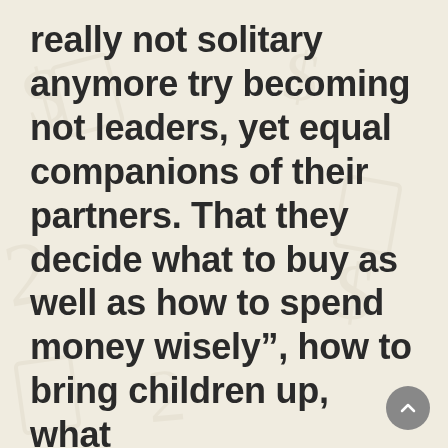really not solitary anymore try becoming not leaders, yet equal companions of their partners. That they decide what to buy as well as how to spend money wisely”, how to bring children up, what